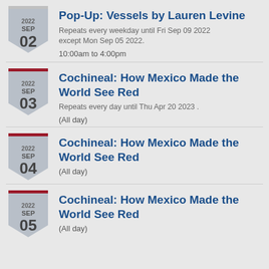2022 SEP 02 — Pop-Up: Vessels by Lauren Levine. Repeats every weekday until Fri Sep 09 2022 except Mon Sep 05 2022. 10:00am to 4:00pm
2022 SEP 03 — Cochineal: How Mexico Made the World See Red. Repeats every day until Thu Apr 20 2023. (All day)
2022 SEP 04 — Cochineal: How Mexico Made the World See Red. (All day)
2022 SEP 05 — Cochineal: How Mexico Made the World See Red. (All day)